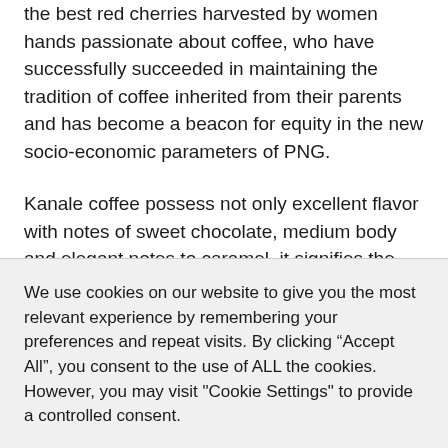the best red cherries harvested by women hands passionate about coffee, who have successfully succeeded in maintaining the tradition of coffee inherited from their parents and has become a beacon for equity in the new socio-economic parameters of PNG.
Kanale coffee possess not only excellent flavor with notes of sweet chocolate, medium body and elegant notes to caramel, it signifies the leadership of the passionate women who with coffee create a special
We use cookies on our website to give you the most relevant experience by remembering your preferences and repeat visits. By clicking “Accept All”, you consent to the use of ALL the cookies. However, you may visit "Cookie Settings" to provide a controlled consent.